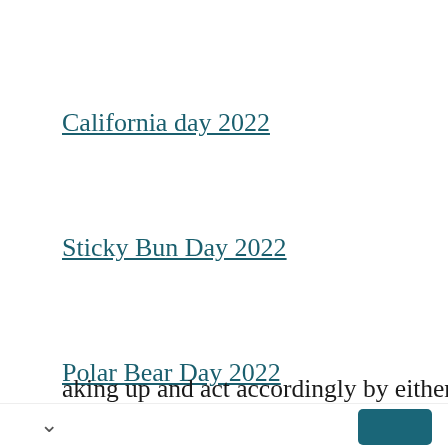California day 2022
Sticky Bun Day 2022
Polar Bear Day 2022
You are not bound to celebrate this day. If texting your ex can harm their present relationship, then don't do it! You should also think about what will happen in the future if you continue talking or seeing each other after breaking up and act accordingly by either